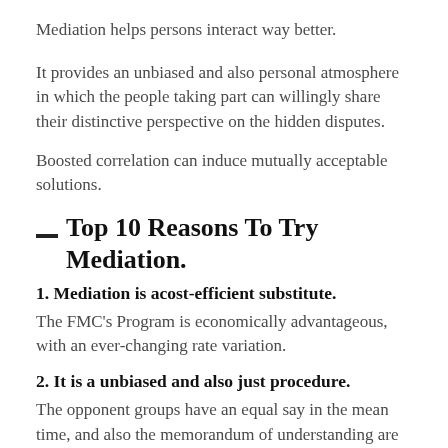Mediation helps persons interact way better.
It provides an unbiased and also personal atmosphere in which the people taking part can willingly share their distinctive perspective on the hidden disputes.
Boosted correlation can induce mutually acceptable solutions.
Top 10 Reasons To Try Mediation.
1. Mediation is acost-efficient substitute.
The FMC's Program is economically advantageous, with an ever-changing rate variation.
2. It is a unbiased and also just procedure.
The opponent groups have an equal say in the mean time, and also the memorandum of understanding are decided by them instead of the pacifier. In the procedure, there is no decree of disappointment or